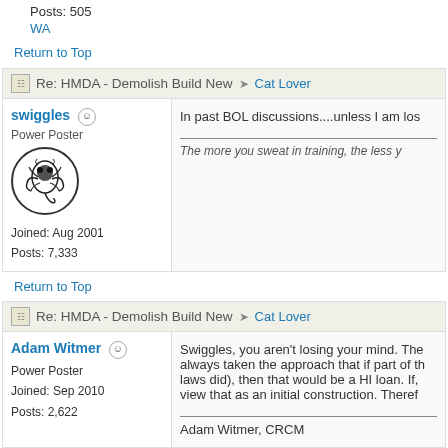Posts: 505
WA
Return to Top
Re: HMDA - Demolish Build New → Cat Lover
swiggles
Power Poster
[Figure (illustration): User avatar: circular black and white illustration of a scorpion]
Joined: Aug 2001
Posts: 7,333
In past BOL discussions....unless I am los
The more you sweat in training, the less y
Return to Top
Re: HMDA - Demolish Build New → Cat Lover
Adam Witmer
Power Poster
Joined: Sep 2010
Posts: 2,622
Swiggles, you aren't losing your mind. The always taken the approach that if part of th laws did), then that would be a HI loan. If, view that as an initial construction. Theref
Adam Witmer, CRCM